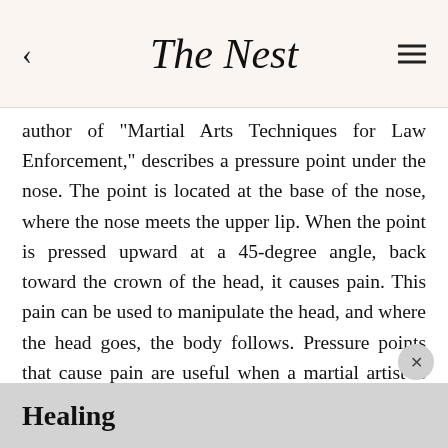The Nest
author of "Martial Arts Techniques for Law Enforcement," describes a pressure point under the nose. The point is located at the base of the nose, where the nose meets the upper lip. When the point is pressed upward at a 45-degree angle, back toward the crown of the head, it causes pain. This pain can be used to manipulate the head, and where the head goes, the body follows. Pressure points that cause pain are useful when a martial artist is trying to control an attacker without permanently injuring him.
Healing